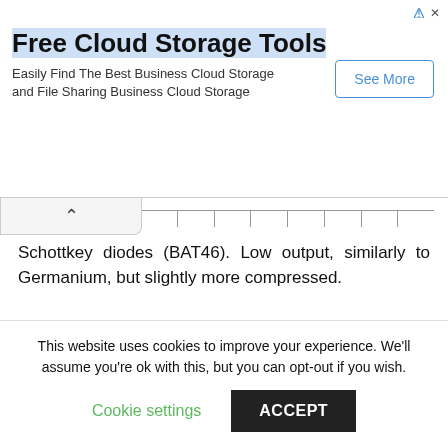[Figure (screenshot): Advertisement banner for 'Free Cloud Storage Tools' with a 'See More' button]
Schottkey diodes (BAT46). Low output, similarly to Germanium, but slightly more compressed.
[Figure (continuous-plot): Waveform chart showing amplitude vs time (seconds). Three full cycles of a sinusoidal-like wave in green, with x-axis labels at 0.001, 0.002, 0.003. The positive peaks are compressed/clipped slightly compared to the negative troughs.]
Silicon diodes (1N4148). Even more clipping and much
This website uses cookies to improve your experience. We'll assume you're ok with this, but you can opt-out if you wish.
Cookie settings
ACCEPT